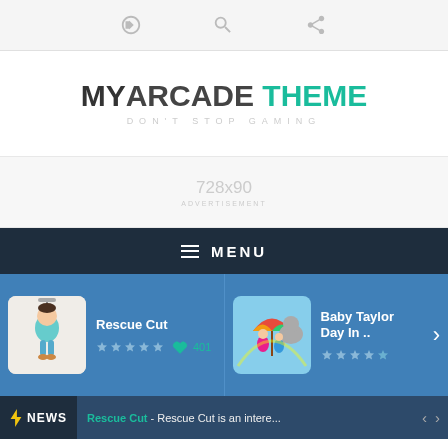Icons: login, search, share
MYARCADE THEME — DON'T STOP GAMING
[Figure (other): 728x90 advertisement placeholder banner]
≡ MENU
[Figure (screenshot): Rescue Cut game card with thumbnail, star rating (empty stars), heart icon and play count 401]
[Figure (screenshot): Baby Taylor Day In .. game card with thumbnail and star rating (partially filled), chevron right arrow]
NEWS — Rescue Cut - Rescue Cut is an intere...